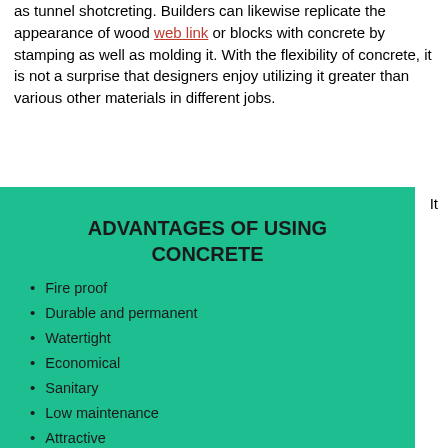as tunnel shotcreting. Builders can likewise replicate the appearance of wood web link or blocks with concrete by stamping as well as molding it. With the flexibility of concrete, it is not a surprise that designers enjoy utilizing it greater than various other materials in different jobs.
[Figure (infographic): Green box titled 'ADVANTAGES OF USING CONCRETE' with a bullet list: Fire proof, Durable and permanent, Watertight, Economical, Sanitary, Low maintenance, Attractive, Termite & rodent proof, Storm resistant]